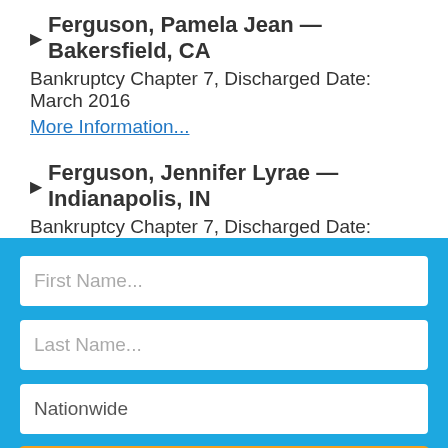▶ Ferguson, Pamela Jean — Bakersfield, CA
Bankruptcy Chapter 7, Discharged Date: March 2016
More Information...
▶ Ferguson, Jennifer Lyrae — Indianapolis, IN
Bankruptcy Chapter 7, Discharged Date: January 2013
More Information...
[Figure (screenshot): Search form with fields for First Name, Last Name, and location (Nationwide), and an orange SEARCH button, on a blue background.]